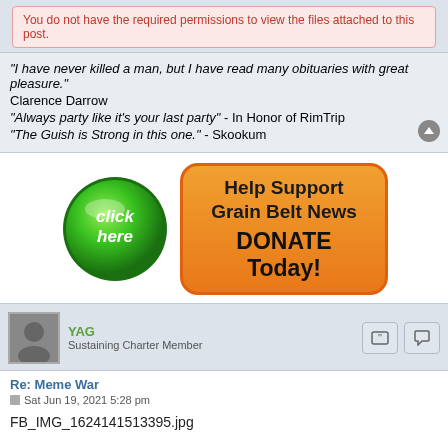You do not have the required permissions to view the files attached to this post.
"I have never killed a man, but I have read many obituaries with great pleasure." Clarence Darrow
"Always party like it's your last party" - In Honor of RimTrip
"The Guish is Strong in this one." - Skookum
[Figure (infographic): Green glossy click-here button and orange donate box reading Help Support Grain Belt News DONATE Today!]
YAG
Sustaining Charter Member
Re: Meme War
Sat Jun 19, 2021 5:28 pm
FB_IMG_1624141513395.jpg
You do not have the required permissions to view the files attached to this post.